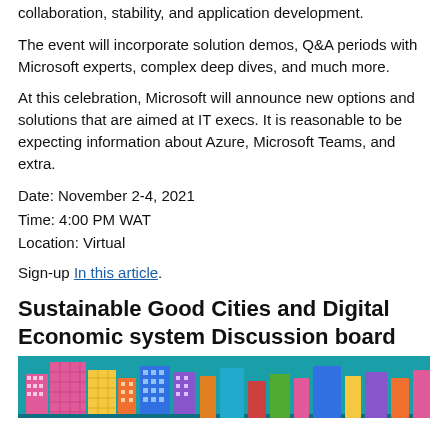They will be talking on the latest in cloud, productivity, collaboration, stability, and application development.
The event will incorporate solution demos, Q&A periods with Microsoft experts, complex deep dives, and much more.
At this celebration, Microsoft will announce new options and solutions that are aimed at IT execs. It is reasonable to be expecting information about Azure, Microsoft Teams, and extra.
Date: November 2-4, 2021
Time: 4:00 PM WAT
Location: Virtual
Sign-up In this article.
Sustainable Good Cities and Digital Economic system Discussion board
[Figure (illustration): Colorful illustration of stylized city buildings against a teal/blue background]